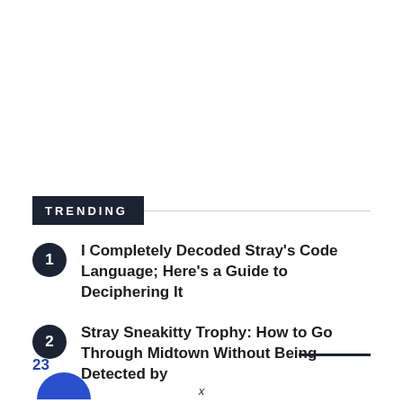TRENDING
I Completely Decoded Stray's Code Language; Here's a Guide to Deciphering It
Stray Sneakitty Trophy: How to Go Through Midtown Without Being Detected by